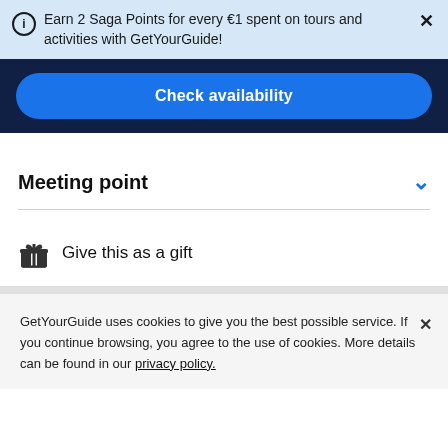Earn 2 Saga Points for every €1 spent on tours and activities with GetYourGuide!
Check availability
Meeting point
Give this as a gift
GetYourGuide uses cookies to give you the best possible service. If you continue browsing, you agree to the use of cookies. More details can be found in our privacy policy.